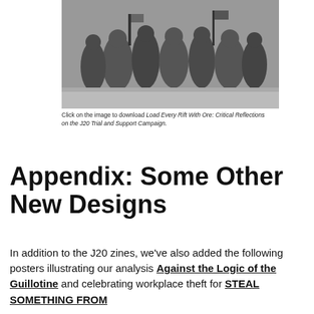[Figure (photo): Black and white photograph of a group of people marching or moving in a crowd, some carrying flags or signs, on a street.]
Click on the image to download Load Every Rift With Ore: Critical Reflections on the J20 Trial and Support Campaign.
Appendix: Some Other New Designs
In addition to the J20 zines, we've also added the following posters illustrating our analysis Against the Logic of the Guillotine and celebrating workplace theft for STEAL SOMETHING FROM